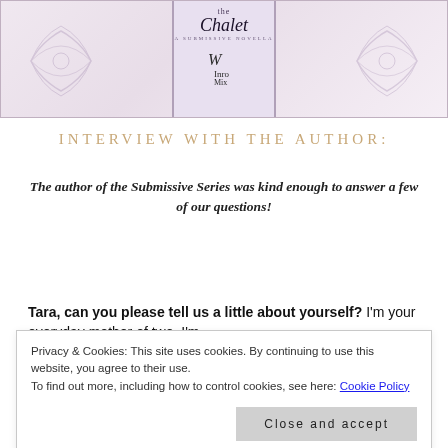[Figure (illustration): Book cover for 'The Chalet: A Submissive Novella' with pink/purple decorative background, ornamental flourishes, and publisher logo]
INTERVIEW WITH THE AUTHOR:
The author of the Submissive Series was kind enough to answer a few of our questions!
Tara, can you please tell us a little about yourself? I'm your everyday mother of two. I'm
Privacy & Cookies: This site uses cookies. By continuing to use this website, you agree to their use.
To find out more, including how to control cookies, see here: Cookie Policy
Close and accept
Macbook Air, so it's really easy to carry and I don't